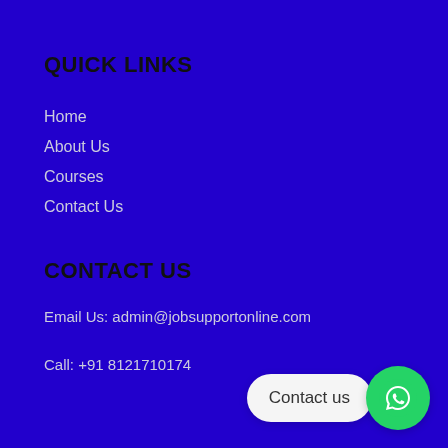QUICK LINKS
Home
About Us
Courses
Contact Us
CONTACT US
Email Us: admin@jobsupportonline.com
Call: +91 8121710174
[Figure (other): WhatsApp contact widget with bubble saying 'Contact us' and green WhatsApp icon button]